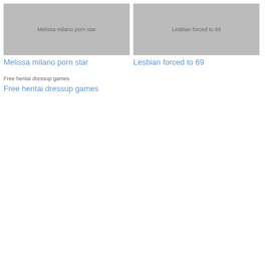[Figure (photo): Thumbnail image placeholder for Melissa milano porn star]
Melissa milano porn star
[Figure (photo): Thumbnail image placeholder for Lesbian forced to 69]
Lesbian forced to 69
[Figure (photo): Thumbnail image placeholder for Free hentai dressup games]
Free hentai dressup games